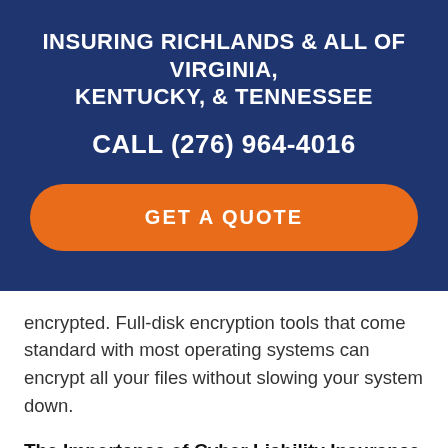INSURING RICHLANDS & ALL OF VIRGINIA, KENTUCKY, & TENNESSEE
CALL (276) 964-4016
GET A QUOTE
encrypted. Full-disk encryption tools that come standard with most operating systems can encrypt all your files without slowing your system down.
The Importance of Cyber Liability Insurance to Protect Your Business
If your business uses any digital device, it is at risk for